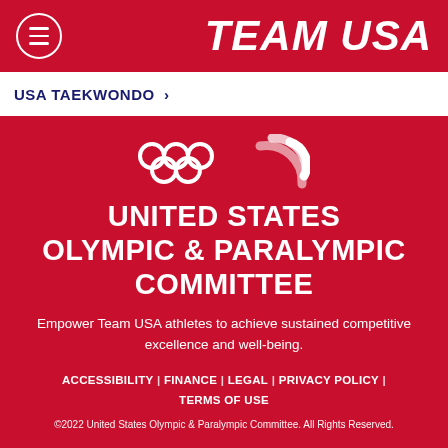TEAM USA
USA TAEKWONDO >
[Figure (logo): Olympic rings logo and Paralympic agitos logo in white on red background]
UNITED STATES OLYMPIC & PARALYMPIC COMMITTEE
Empower Team USA athletes to achieve sustained competitive excellence and well-being.
ACCESSIBILITY | FINANCE | LEGAL | PRIVACY POLICY | TERMS OF USE
©2022 United States Olympic & Paralympic Committee. All Rights Reserved.